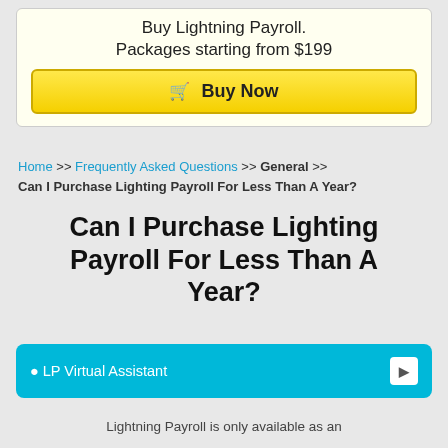Buy Lightning Payroll. Packages starting from $199
Buy Now
Home >> Frequently Asked Questions >> General >> Can I Purchase Lighting Payroll For Less Than A Year?
Can I Purchase Lighting Payroll For Less Than A Year?
LP Virtual Assistant
Lightning Payroll is only available as an